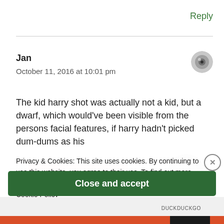Reply
Jan
October 11, 2016 at 10:01 pm
The kid harry shot was actually not a kid, but a dwarf, which would've been visible from the persons facial features, if harry hadn't picked dum-dums as his
Privacy & Cookies: This site uses cookies. By continuing to use this website, you agree to their use. To find out more, including how to control cookies, see here:
Cookie Policy
Close and accept